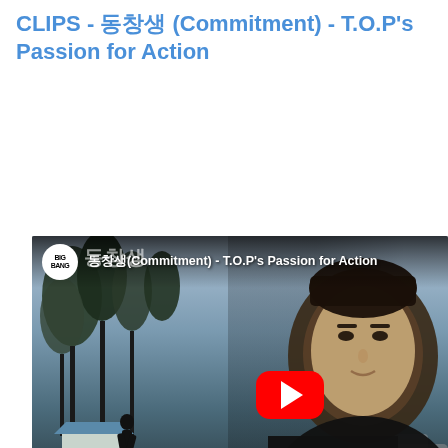CLIPS - 동창생 (Commitment) - T.O.P's Passion for Action
[Figure (screenshot): YouTube video thumbnail showing a Korean movie clip. Top bar shows Big Bang channel logo and title '동창생 (Commitment) - T.O.P's Passion for Action'. Background scene shows a person silhouette in a misty outdoor setting with a house. Right side shows a young Asian man in a black outfit. Bottom right Korean text reads '동창생' and '기대하셔도 좋습니다'. Red YouTube play button in center. Bottom bar says 'Watch on YouTube'.]